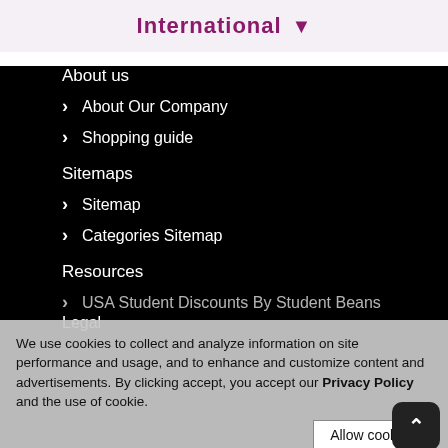International ▾
About us
About Our Company
Shopping guide
Sitemaps
Sitemap
Categories Sitemap
Resources
USA Student Discounts By Student Beans
Legal
We use cookies to collect and analyze information on site performance and usage, and to enhance and customize content and advertisements. By clicking accept, you accept our Privacy Policy and the use of cookie.
Allow cookies